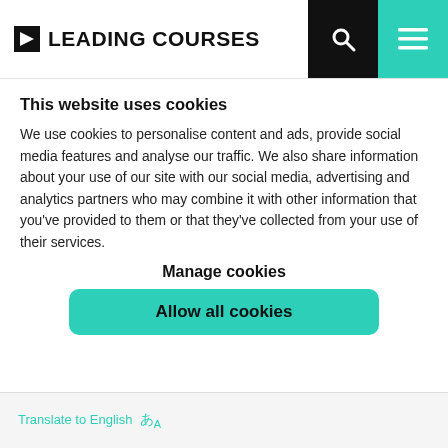LEADING COURSES
This website uses cookies
We use cookies to personalise content and ads, provide social media features and analyse our traffic. We also share information about your use of our site with our social media, advertising and analytics partners who may combine it with other information that you’ve provided to them or that they’ve collected from your use of their services.
Manage cookies
Allow all cookies
Translate to English あA